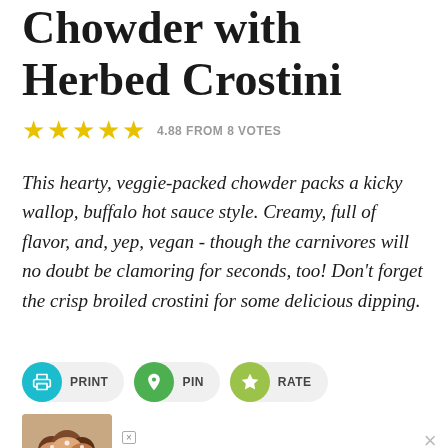Chowder with Herbed Crostini
4.88 FROM 8 VOTES
This hearty, veggie-packed chowder packs a kicky wallop, buffalo hot sauce style. Creamy, full of flavor, and, yep, vegan - though the carnivores will no doubt be clamoring for seconds, too! Don't forget the crisp broiled crostini for some delicious dipping.
[Figure (other): Action buttons: PRINT (teal), PIN (green), RATE (lime green)]
[Figure (other): Advertisement banner: photo of people smiling, text 'Black Families Matter', close button and W logo]